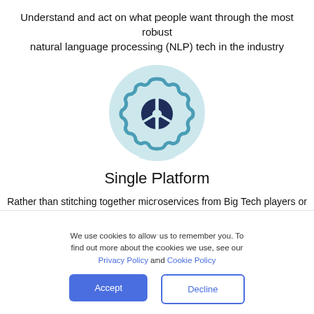Understand and act on what people want through the most robust natural language processing (NLP) tech in the industry
[Figure (illustration): Light blue circular icon containing a dark navy gear/settings symbol with a three-part shield-like emblem in the center]
Single Platform
Rather than stitching together microservices from Big Tech players or integrating components, get every capability you need to automate interactions in a single no-code software platform
We use cookies to allow us to remember you. To find out more about the cookies we use, see our Privacy Policy and Cookie Policy
Accept
Decline